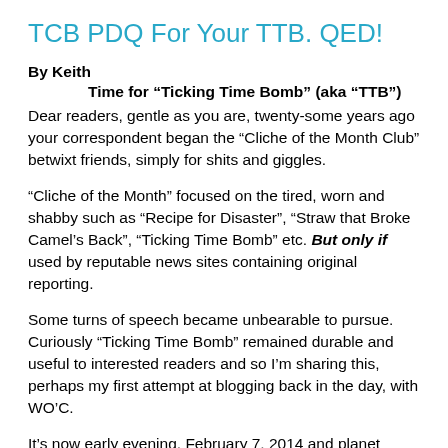TCB PDQ For Your TTB. QED!
By Keith
Time for “Ticking Time Bomb” (aka “TTB”)
Dear readers, gentle as you are, twenty-some years ago your correspondent began the “Cliche of the Month Club” betwixt friends, simply for shits and giggles.
“Cliche of the Month” focused on the tired, worn and shabby such as “Recipe for Disaster”, “Straw that Broke Camel’s Back”, “Ticking Time Bomb” etc. But only if used by reputable news sites containing original reporting.
Some turns of speech became unbearable to pursue. Curiously “Ticking Time Bomb” remained durable and useful to interested readers and so I’m sharing this, perhaps my first attempt at blogging back in the day, with WO’C.
It’s now early evening, February 7, 2014 and planet Mercury is steadfast in retrograde motion. Do not fear. This is not an